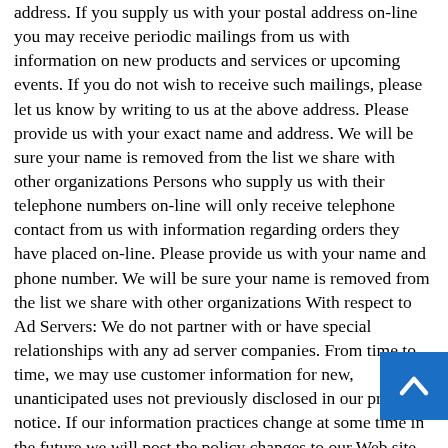address. If you supply us with your postal address on-line you may receive periodic mailings from us with information on new products and services or upcoming events. If you do not wish to receive such mailings, please let us know by writing to us at the above address. Please provide us with your exact name and address. We will be sure your name is removed from the list we share with other organizations Persons who supply us with their telephone numbers on-line will only receive telephone contact from us with information regarding orders they have placed on-line. Please provide us with your name and phone number. We will be sure your name is removed from the list we share with other organizations With respect to Ad Servers: We do not partner with or have special relationships with any ad server companies. From time to time, we may use customer information for new, unanticipated uses not previously disclosed in our privacy notice. If our information practices change at some time in the future we will post the policy changes to our Web site to notify you of these changes and provide you with the ability to opt out of these new uses. If you are concerned about how your information is used, you should check back at our Web site periodically. Upon request we provide site visitors with access to all
[Figure (other): Blue scroll-to-top button with white upward chevron arrow, positioned at bottom-right corner]